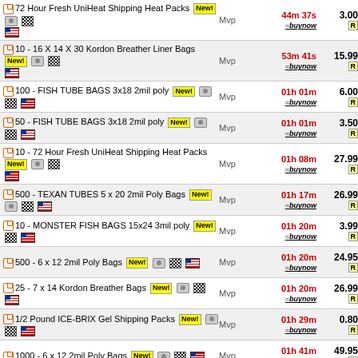72 Hour Fresh UniHeat Shipping Heat Packs New! | Mvp | 44m 37s | 3.00
10 - 16 X 14 X 30 Kordon Breather Liner Bags New! | Mvp | 53m 41s | 15.99
100 - FISH TUBE BAGS 3x18 2mil poly New! | Mvp | 01h 01m | 6.00
50 - FISH TUBE BAGS 3x18 2mil poly New! | Mvp | 01h 01m | 3.50
10 - 72 Hour Fresh UniHeat Shipping Heat Packs New! | Mvp | 01h 08m | 27.99
500 - TEXAN TUBES 5 x 20 2mil Poly Bags New! | Mvp | 01h 17m | 26.99
10 - MONSTER FISH BAGS 15x24 3mil poly New! | Mvp | 01h 20m | 3.99
500 - 6 x 12 2mil Poly Bags New! | Mvp | 01h 20m | 24.95
25 - 7 x 14 Kordon Breather Bags New! | Mvp | 01h 20m | 26.99
1/2 Pound ICE-BRIX Gel Shipping Packs New! | Mvp | 01h 29m | 0.80
1000 - 6 x 12 2mil Poly Bags New! | Mvp | 01h 41m | 49.95
100 - 8 x 20 2mil Poly Bags New! | Mvp | 01h 41m | 6.99
25 - FISH TUBE BAGS 3x18... | Mvp | 01h 41m | 3.75